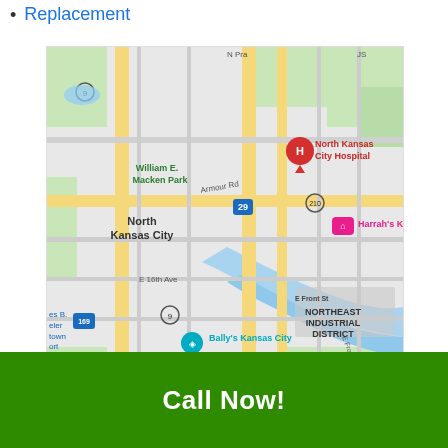Replacement
[Figure (map): Google Maps view of North Kansas City area showing William E. Macken Park, North Kansas City Hospital, Harrah's Kans, Bally's Kansas City, Northeast Industrial District, Armour Rd, E 16th Ave, E Front St, and highways 9, 169, 29, 210.]
Call Now!